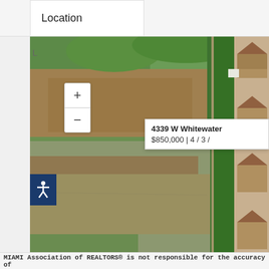Location
[Figure (map): Aerial satellite map view showing agricultural fields and residential area with tree-lined road. A popup callout shows: 4339 W Whitewater  /  $850,000 | 4 / 3 /]
MIAMI Association of REALTORS® is not responsible for the accuracy of